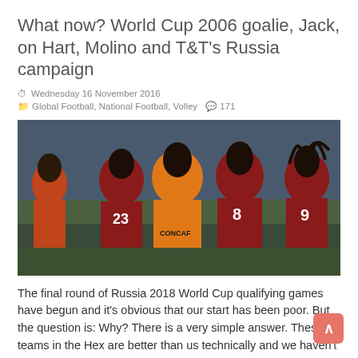What now? World Cup 2006 goalie, Jack, on Hart, Molino and T&T's Russia campaign
Wednesday 16 November 2016
Global Football, National Football, Volley  171
[Figure (photo): Trinidad and Tobago football players celebrating on the pitch, wearing red and black kits with numbers 23, 8 and 9 visible, along with a player in an orange CONCACAF bib.]
The final round of Russia 2018 World Cup qualifying games have begun and it's obvious that our start has been poor. But the question is: Why? There is a very simple answer. These teams in the Hex are better than us technically and we haven't been tactically astute